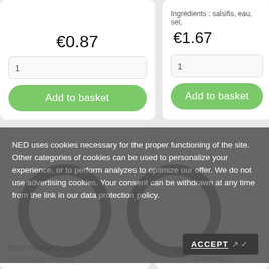€0.87
1
Add to basket
Ingrédients : salsifis, eau, sel,
€1.67
1
Add to basket
NED uses cookies necessary for the proper functioning of the site. Other categories of cookies can be used to personalize your experience, or to perform analyzes to optimize our offer. We do not use advertising cookies. Your consent can be withdrawn at any time from the link in our data protection policy.
ACCEPT ✓
Mutti Peeled Crushed...
100% Italian certified
Red Cabbage Already Cooked...